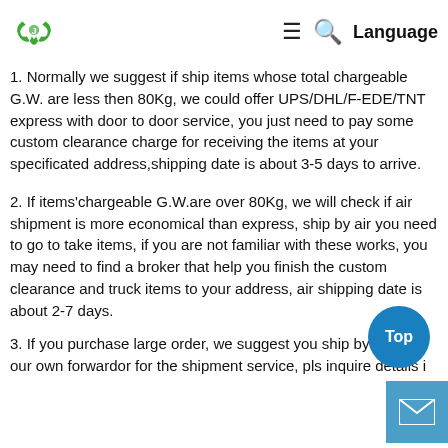Language
1. Normally we suggest if ship items whose total chargeable G.W. are less then 80Kg, we could offer UPS/DHL/F-EDE/TNT express with door to door service, you just need to pay some custom clearance charge for receiving the items at your specificated address,shipping date is about 3-5 days to arrive.
2. If items'chargeable G.W.are over 80Kg, we will check if air shipment is more economical than express, ship by air you need to go to take items, if you are not familiar with these works, you may need to find a broker that help you finish the custom clearance and truck items to your address, air shipping date is about 2-7 days.
3. If you purchase large order, we suggest you ship by sea, we our own forwardor for the shipment service, pls inquire details i